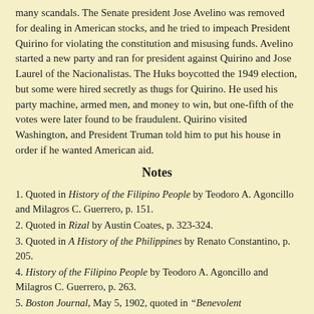many scandals. The Senate president Jose Avelino was removed for dealing in American stocks, and he tried to impeach President Quirino for violating the constitution and misusing funds. Avelino started a new party and ran for president against Quirino and Jose Laurel of the Nacionalistas. The Huks boycotted the 1949 election, but some were hired secretly as thugs for Quirino. He used his party machine, armed men, and money to win, but one-fifth of the votes were later found to be fraudulent. Quirino visited Washington, and President Truman told him to put his house in order if he wanted American aid.
Notes
1. Quoted in History of the Filipino People by Teodoro A. Agoncillo and Milagros C. Guerrero, p. 151.
2. Quoted in Rizal by Austin Coates, p. 323-324.
3. Quoted in A History of the Philippines by Renato Constantino, p. 205.
4. History of the Filipino People by Teodoro A. Agoncillo and Milagros C. Guerrero, p. 263.
5. Boston Journal, May 5, 1902, quoted in "Benevolent Assimilation" by Stuart Creighton Miller, p. 239.
Copyright © 2007 by Sanderson Beck